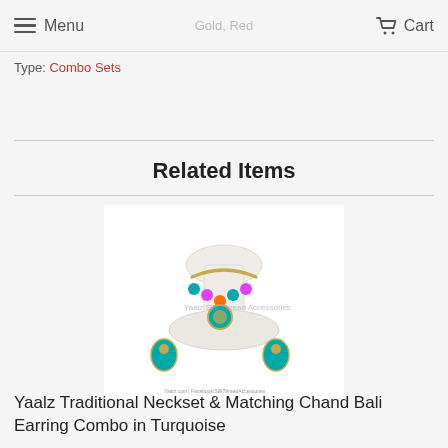Menu | Gold, Red | Cart
Type: Combo Sets
Related Items
[Figure (photo): Yaalz silk thread jewelry combo set displayed on a white mannequin bust, featuring a colorful necklace with teal, purple, orange, and gold beads, along with matching teal and gold Chand Bali earrings.]
Yaalz Traditional Neckset & Matching Chand Bali Earring Combo in Turquoise